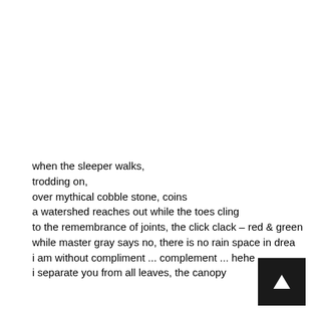when the sleeper walks,
trodding on,
over mythical cobble stone, coins
a watershed reaches out while the toes cling
to the remembrance of joints, the click clack – red & green
while master gray says no, there is no rain space in drea
i am without compliment ... complement ... hehe
i separate you from all leaves, the canopy